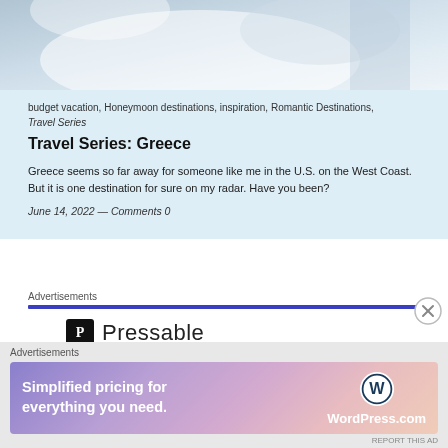[Figure (photo): Partial photo of white fabric or bedding, top portion of a blog post card]
budget vacation, Honeymoon destinations, inspiration, Romantic Destinations, Travel Series
Travel Series: Greece
Greece seems so far away for someone like me in the U.S. on the West Coast. But it is one destination for sure on my radar. Have you been?
June 14, 2022 — Comments 0
Advertisements
[Figure (logo): Pressable logo with P icon and Pressable wordmark]
Advertisements
[Figure (infographic): WordPress.com advertisement banner: Simplified pricing for everything you need, with WordPress.com logo]